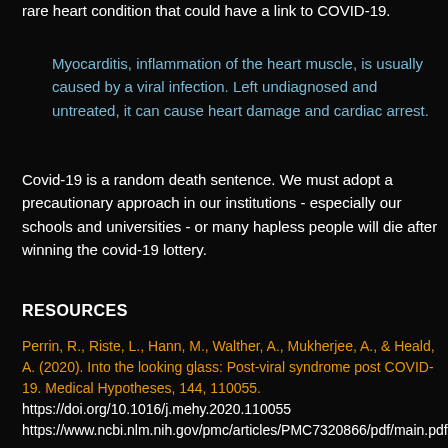rare heart condition that could have a link to COVID-19.
Myocarditis, inflammation of the heart muscle, is usually caused by a viral infection. Left undiagnosed and untreated, it can cause heart damage and cardiac arrest.
Covid-19 is a random death sentence. We must adopt a precautionary approach in our institutions - especially our schools and universities - or many hapless people will die after winning the covid-19 lottery.
RESOURCES
Perrin, R., Riste, L., Hann, M., Walther, A., Mukherjee, A., & Heald, A. (2020). Into the looking glass: Post-viral syndrome post COVID-19. Medical Hypotheses, 144, 110055.
https://doi.org/10.1016/j.mehy.2020.110055
https://www.ncbi.nlm.nih.gov/pmc/articles/PMC7320866/pdf/main.pdf
Terpos E, Ntanasis-Stathopoulos I, Elalamy I, et al. Hematological findings and complications of COVID-19. Am J Hematol. 2020;95(7):834-847. doi:10.1002/ajh.25829
Abstract: COVID-19 is a systemic infection with a significant